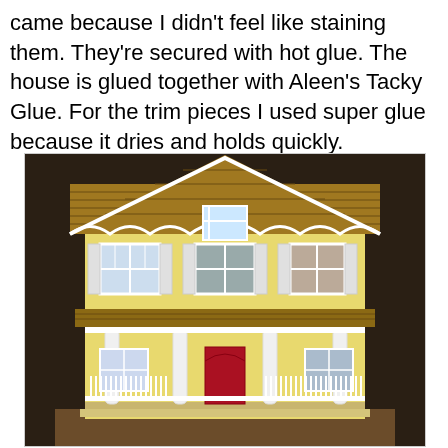came because I didn't feel like staining them. They're secured with hot glue. The house is glued together with Aleen's Tacky Glue. For the trim pieces I used super glue because it dries and holds quickly.
[Figure (photo): A yellow Victorian-style dollhouse with a brown shingled roof, white decorative trim on the gable, white shutters on upper-floor windows, a red front door, white porch railing with columns, and a small porch area. The dollhouse sits on a table surface.]